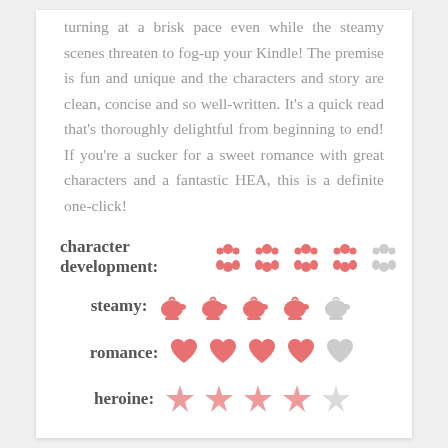turning at a brisk pace even while the steamy scenes threaten to fog-up your Kindle! The premise is fun and unique and the characters and story are clean, concise and so well-written. It's a quick read that's thoroughly delightful from beginning to end! If you're a sucker for a sweet romance with great characters and a fantastic HEA, this is a definite one-click!
[Figure (infographic): character development rating: 4 out of 5 filled person/group icons in pink, 1 empty in gray]
[Figure (infographic): steamy rating: 4 out of 5 filled teapot icons in pink, 1 empty in gray]
[Figure (infographic): romance rating: 4 out of 5 filled heart icons in pink, 1 empty in gray]
[Figure (infographic): heroine rating: partially visible row of star icons in pink]